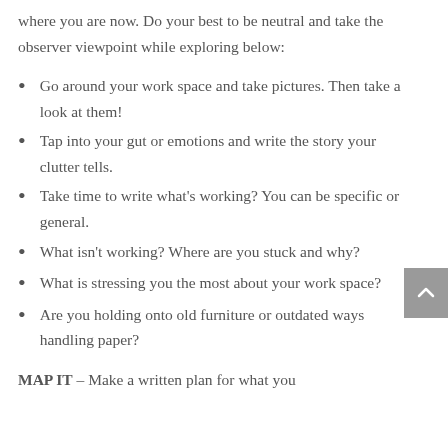where you are now. Do your best to be neutral and take the observer viewpoint while exploring below:
Go around your work space and take pictures. Then take a look at them!
Tap into your gut or emotions and write the story your clutter tells.
Take time to write what's working? You can be specific or general.
What isn't working? Where are you stuck and why?
What is stressing you the most about your work space?
Are you holding onto old furniture or outdated ways handling paper?
MAP IT – Make a written plan for what you